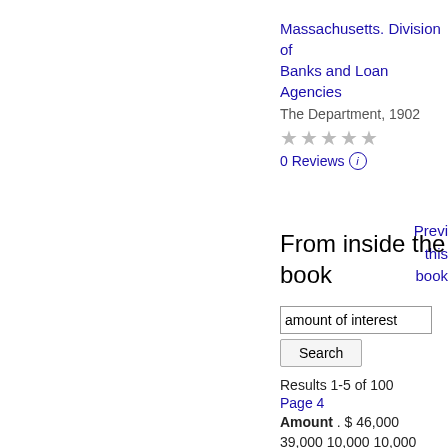Massachusetts. Division of Banks and Loan Agencies
The Department, 1902
★★★★★
0 Reviews ⓘ
Preview this book
From inside the book
amount of interest
Results 1-5 of 100
Page 4
Amount . $ 46,000
39,000 10,000 10,000
5,000 30,000 25,000